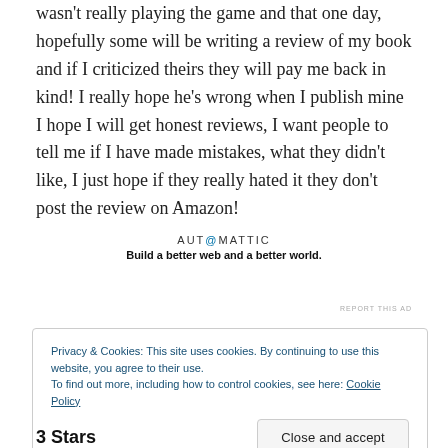wasn't really playing the game and that one day, hopefully some will be writing a review of my book and if I criticized theirs they will pay me back in kind! I really hope he's wrong when I publish mine I hope I will get honest reviews, I want people to tell me if I have made mistakes, what they didn't like, I just hope if they really hated it they don't post the review on Amazon!
[Figure (logo): Automattic logo with tagline 'Build a better web and a better world.']
REPORT THIS AD
Privacy & Cookies: This site uses cookies. By continuing to use this website, you agree to their use. To find out more, including how to control cookies, see here: Cookie Policy
Close and accept
3 Stars